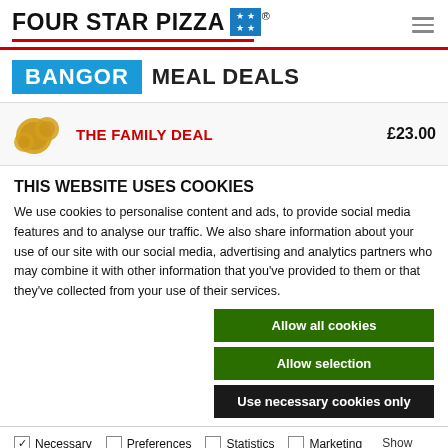FOUR STAR PIZZA
BANGOR MEAL DEALS
THE FAMILY DEAL £23.00
THIS WEBSITE USES COOKIES
We use cookies to personalise content and ads, to provide social media features and to analyse our traffic. We also share information about your use of our site with our social media, advertising and analytics partners who may combine it with other information that you've provided to them or that they've collected from your use of their services.
Allow all cookies
Allow selection
Use necessary cookies only
Necessary  Preferences  Statistics  Marketing  Show details